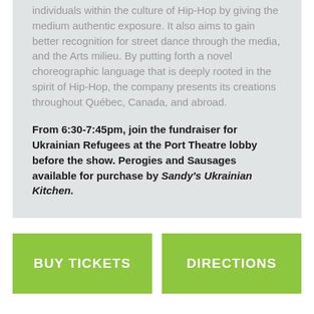individuals within the culture of Hip-Hop by giving the medium authentic exposure. It also aims to gain better recognition for street dance through the media, and the Arts milieu. By putting forth a novel choreographic language that is deeply rooted in the spirit of Hip-Hop, the company presents its creations throughout Québec, Canada, and abroad.
From 6:30-7:45pm, join the fundraiser for Ukrainian Refugees at the Port Theatre lobby before the show. Perogies and Sausages available for purchase by Sandy's Ukrainian Kitchen.
BUY TICKETS
DIRECTIONS